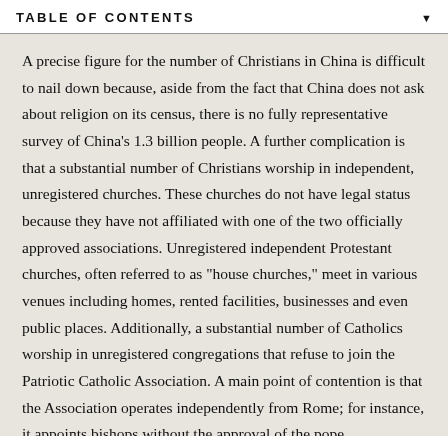TABLE OF CONTENTS
A precise figure for the number of Christians in China is difficult to nail down because, aside from the fact that China does not ask about religion on its census, there is no fully representative survey of China’s 1.3 billion people. A further complication is that a substantial number of Christians worship in independent, unregistered churches. These churches do not have legal status because they have not affiliated with one of the two officially approved associations. Unregistered independent Protestant churches, often referred to as “house churches,” meet in various venues including homes, rented facilities, businesses and even public places. Additionally, a substantial number of Catholics worship in unregistered congregations that refuse to join the Patriotic Catholic Association. A main point of contention is that the Association operates independently from Rome; for instance, it appoints bishops without the approval of the pope.